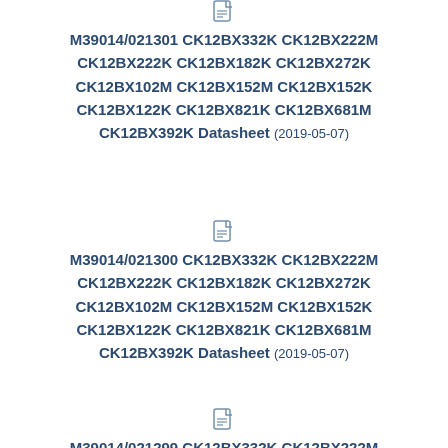[Figure (other): PDF file icon]
M39014/021301 CK12BX332K CK12BX222M CK12BX222K CK12BX182K CK12BX272K CK12BX102M CK12BX152M CK12BX152K CK12BX122K CK12BX821K CK12BX681M CK12BX392K Datasheet (2019-05-07)
[Figure (other): PDF file icon]
M39014/021300 CK12BX332K CK12BX222M CK12BX222K CK12BX182K CK12BX272K CK12BX102M CK12BX152M CK12BX152K CK12BX122K CK12BX821K CK12BX681M CK12BX392K Datasheet (2019-05-07)
[Figure (other): PDF file icon]
M39014/021299 CK12BX332K CK12BX222M